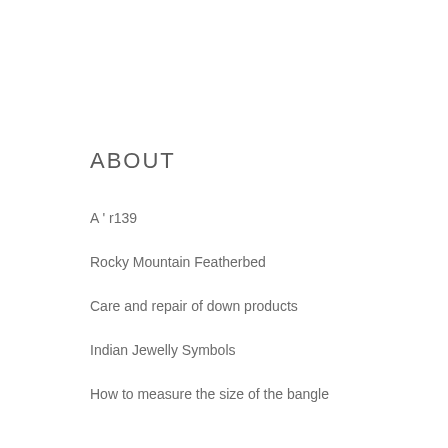ABOUT
A ' r139
Rocky Mountain Featherbed
Care and repair of down products
Indian Jewelly Symbols
How to measure the size of the bangle